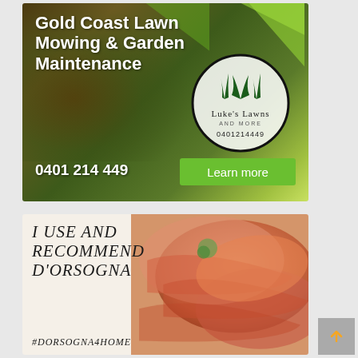[Figure (photo): Advertisement for Luke's Lawns lawn mowing and garden maintenance service on Gold Coast. Shows grass background with green geometric shapes, circular logo, phone number 0401 214 449 and Learn more button.]
[Figure (photo): Advertisement for D'Orsogna deli meats showing text 'I use and recommend D'Orsogna' with hashtag #DORSOGNA4HOME alongside photo of sliced meats.]